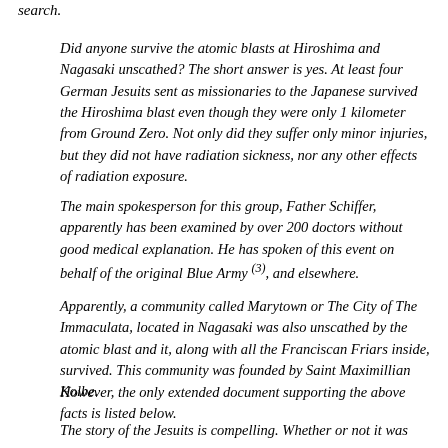search.
Did anyone survive the atomic blasts at Hiroshima and Nagasaki unscathed? The short answer is yes. At least four German Jesuits sent as missionaries to the Japanese survived the Hiroshima blast even though they were only 1 kilometer from Ground Zero. Not only did they suffer only minor injuries, but they did not have radiation sickness, nor any other effects of radiation exposure.
The main spokesperson for this group, Father Schiffer, apparently has been examined by over 200 doctors without good medical explanation. He has spoken of this event on behalf of the original Blue Army (3), and elsewhere.
Apparently, a community called Marytown or The City of The Immaculata, located in Nagasaki was also unscathed by the atomic blast and it, along with all the Franciscan Friars inside, survived. This community was founded by Saint Maximillian Kolbe.
However, the only extended document supporting the above facts is listed below.
The story of the Jesuits is compelling. Whether or not it was